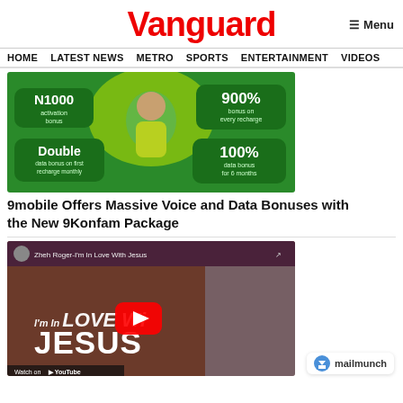Vanguard
≡ Menu
HOME  LATEST NEWS  METRO  SPORTS  ENTERTAINMENT  VIDEOS
[Figure (photo): 9mobile advertisement showing a young man with N1000 activation bonus, 900% bonus on every recharge, Double data bonus on first recharge monthly, 100% data bonus for 6 months – green background with yellow circle]
9mobile Offers Massive Voice and Data Bonuses with the New 9Konfam Package
[Figure (screenshot): YouTube video thumbnail for 'Zheh Roger - I'm In Love With Jesus' showing a man in a blue and white outfit with text 'I'm In Love With Jesus' overlaid]
mailmunch